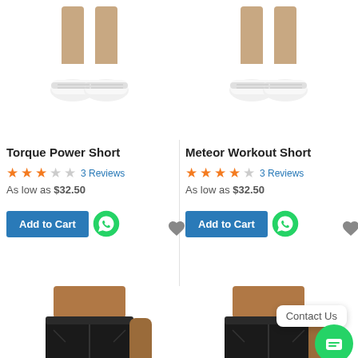[Figure (photo): Man's lower legs wearing white sneakers and socks, left product (Torque Power Short) top image]
[Figure (photo): Man's lower legs wearing white sneakers and socks, right product (Meteor Workout Short) top image]
Torque Power Short
★★★☆☆  3 Reviews  As low as $32.50
Meteor Workout Short
★★★★☆  3 Reviews  As low as $32.50
[Figure (illustration): Add to Cart blue button with WhatsApp icon, heart icon, bar chart icon (left product)]
[Figure (illustration): Add to Cart blue button with WhatsApp icon, heart icon, bar chart icon (right product)]
[Figure (photo): Man wearing black athletic shorts, left product photo (Torque Power Short)]
[Figure (photo): Man wearing black athletic shorts, right product photo (Meteor Workout Short)]
Contact Us